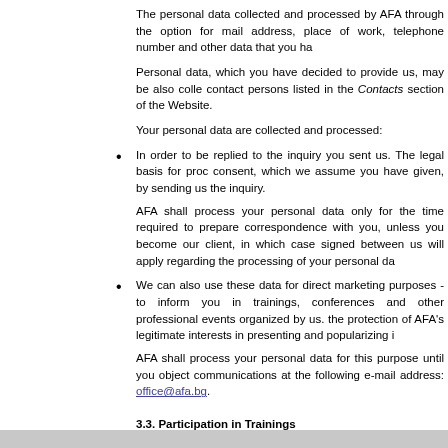The personal data collected and processed by AFA through the option for mail address, place of work, telephone number and other data that you ha
Personal data, which you have decided to provide us, may be also colle contact persons listed in the Contacts section of the Website.
Your personal data are collected and processed:
In order to be replied to the inquiry you sent us. The legal basis for proc consent, which we assume you have given, by sending us the inquiry.
AFA shall process your personal data only for the time required to prepare correspondence with you, unless you become our client, in which case signed between us will apply regarding the processing of your personal da
We can also use these data for direct marketing purposes - to inform you in trainings, conferences and other professional events organized by us. the protection of AFA's legitimate interests in presenting and popularizing i
AFA shall process your personal data for this purpose until you object communications at the following e-mail address: office@afa.bg.
3.3. Participation in Trainings
You can register for a training organized by AFA through the Training sec data you have provided (e.g., name, surname, e-mail address or contac working for) for the following purposes:
To register you for participation in the training chosen by you. The legal explicit, voluntary consent, which we assume that you have provided us training. AFA shall process your personal data for this purpose until the t